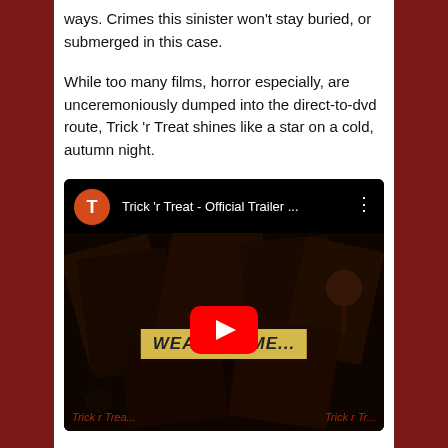ways. Crimes this sinister won't stay buried, or submerged in this case.
While too many films, horror especially, are unceremoniously dumped into the direct-to-dvd route, Trick 'r Treat shines like a star on a cold, autumn night.
[Figure (screenshot): Embedded YouTube video thumbnail for 'Trick 'r Treat - Official Trailer ...' showing a collage of dark horror film imagery with a 'WEAR...TUME...' banner text and the YouTube play button overlay.]